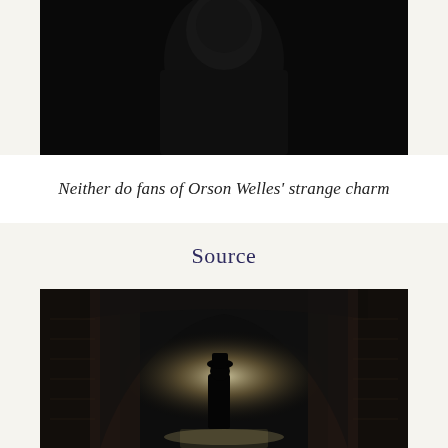[Figure (photo): Black and white photograph of Orson Welles, partially visible upper body, dark background]
Neither do fans of Orson Welles' strange charm
Source
[Figure (photo): Black and white photograph of a figure silhouetted in a brick tunnel with light at the end, water on the floor]